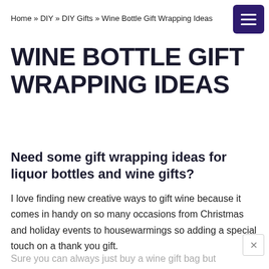Home » DIY » DIY Gifts » Wine Bottle Gift Wrapping Ideas
WINE BOTTLE GIFT WRAPPING IDEAS
Need some gift wrapping ideas for liquor bottles and wine gifts?
I love finding new creative ways to gift wine because it comes in handy on so many occasions from Christmas and holiday events to housewarmings so adding a special touch on a thank you gift.
Sure you can always just buy a wine gift bag but sometimes I just don't have time to go get one.